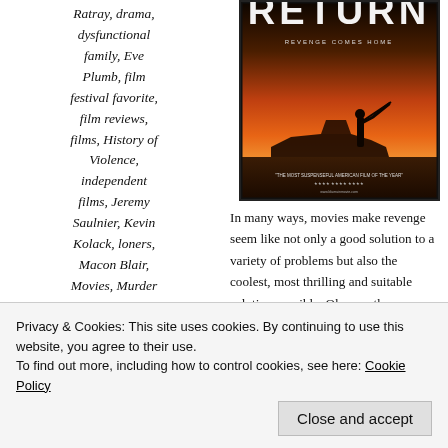Ratray, drama, dysfunctional family, Eve Plumb, film festival favorite, film reviews, films, History of Violence, independent films, Jeremy Saulnier, Kevin Kolack, loners, Macon Blair, Movies, Murder Party, revenge,
[Figure (photo): Movie poster for a film (partially obscured title, appears to say 'RETURN'). Dark silhouette of a person holding a weapon against an orange sunset sky with a car in background. Tagline: 'REVENGE COMES HOME'. Quote: 'THE MOST SUSPENSEFUL AMERICAN FILM OF THE YEAR']
In many ways, movies make revenge seem like not only a good solution to a variety of problems but also the coolest, most thrilling and suitable solution possible. Oh sure, there are plenty of "anti-revenge" films (Cronenberg's astounding A History of Violence (2005) comes immediately to mind) out there but they definitely appear to be outnumbered and out-gunned
Privacy & Cookies: This site uses cookies. By continuing to use this website, you agree to their use.
To find out more, including how to control cookies, see here: Cookie Policy
Close and accept